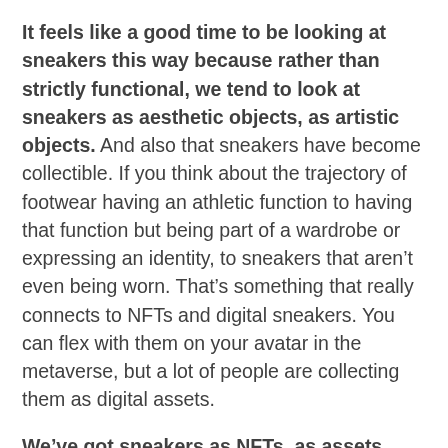It feels like a good time to be looking at sneakers this way because rather than strictly functional, we tend to look at sneakers as aesthetic objects, as artistic objects. And also that sneakers have become collectible. If you think about the trajectory of footwear having an athletic function to having that function but being part of a wardrobe or expressing an identity, to sneakers that aren't even being worn. That's something that really connects to NFTs and digital sneakers. You can flex with them on your avatar in the metaverse, but a lot of people are collecting them as digital assets.
We've got sneakers as NFTs, as assets, and also sneakers as cosmetic items in video games. I have a pair of Jordans in NBA2K, the same pair I have in real life, that I paid real money for. How do those things relate? It doesn't surprise me that we're seeing such forays of